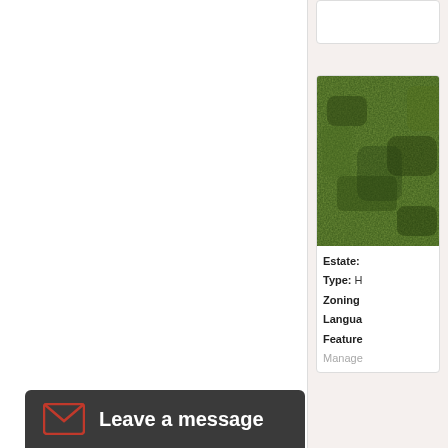[Figure (screenshot): White main content area of a web page, mostly blank]
[Figure (photo): Green mossy/grassy texture image thumbnail in a sidebar card]
Estate:
Type: H
Zoning
Langua
Feature
Manage
Sim
Leave a message